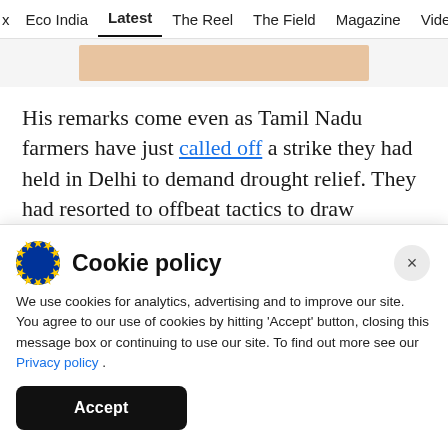x  Eco India  Latest  The Reel  The Field  Magazine  Video
[Figure (photo): Partial image strip showing a cropped peach/salmon colored image element]
His remarks come even as Tamil Nadu farmers have just called off a strike they had held in Delhi to demand drought relief. They had resorted to offbeat tactics to draw attention to their protests, which had gone largely unnoticed by the Centre and sections of the media in its initial days. The
Cookie policy
We use cookies for analytics, advertising and to improve our site. You agree to our use of cookies by hitting ‘Accept’ button, closing this message box or continuing to use our site. To find out more see our Privacy policy .
Accept